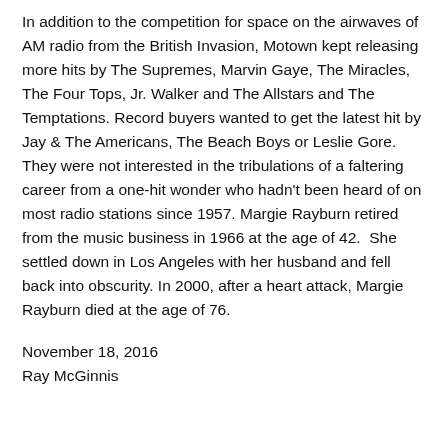In addition to the competition for space on the airwaves of AM radio from the British Invasion, Motown kept releasing more hits by The Supremes, Marvin Gaye, The Miracles, The Four Tops, Jr. Walker and The Allstars and The Temptations. Record buyers wanted to get the latest hit by Jay & The Americans, The Beach Boys or Leslie Gore. They were not interested in the tribulations of a faltering career from a one-hit wonder who hadn't been heard of on most radio stations since 1957. Margie Rayburn retired from the music business in 1966 at the age of 42.  She settled down in Los Angeles with her husband and fell back into obscurity. In 2000, after a heart attack, Margie Rayburn died at the age of 76.
November 18, 2016
Ray McGinnis